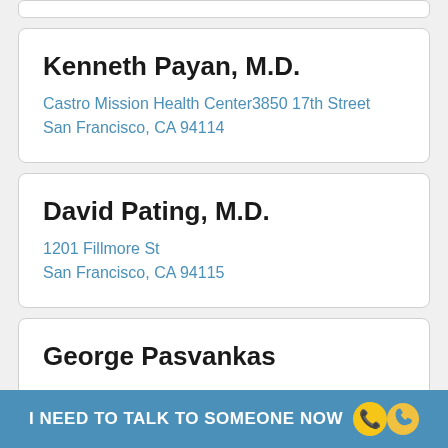Kenneth Payan, M.D.
Castro Mission Health Center3850 17th Street
San Francisco, CA 94114
David Pating, M.D.
1201 Fillmore St
San Francisco, CA 94115
George Pasvankas
I NEED TO TALK TO SOMEONE NOW